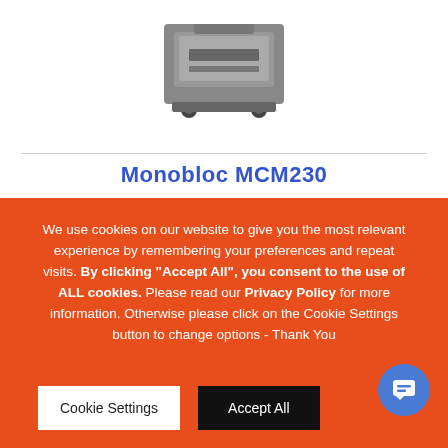[Figure (photo): Gray industrial machine (Monobloc MCM230) on wheels, top portion visible against white background]
Monobloc MCM230
We use cookies on our website to give you the most relevant experience by remembering your preferences and repeat visits. By clicking “Accept All”, you consent to the use of ALL cookies. Please read our Privacy Policy for more information. Otherwise please click on the Cookie Settings button to change options - Thank You